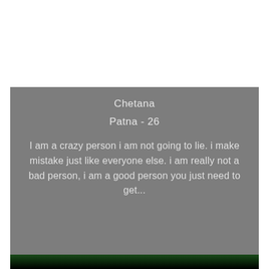Chetana
Patna - 26
I am a crazy person i am not going to lie. i make mistake just like everyone else. i am really not a bad person, i am a good person you just need to get...
[Figure (photo): Dark green and black blurred background strip at the bottom of the page]